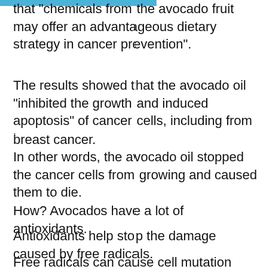that "chemicals from the avocado fruit may offer an advantageous dietary strategy in cancer prevention".
The results showed that the avocado oil "inhibited the growth and induced apoptosis" of cancer cells, including from breast cancer.
In other words, the avocado oil stopped the cancer cells from growing and caused them to die.
How? Avocados have a lot of antioxidants.
Antioxidants help stop the damage caused by free radicals.
Free radicals can cause cell mutation which can